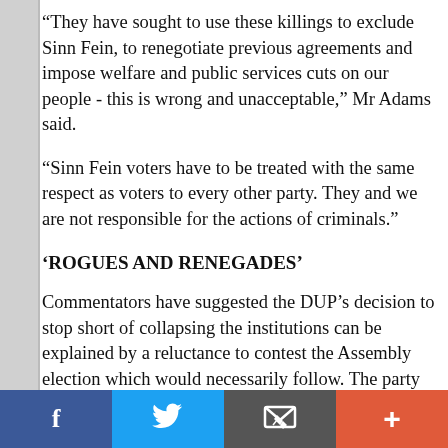“They have sought to use these killings to exclude Sinn Fein, to renegotiate previous agreements and impose welfare and public services cuts on our people - this is wrong and unacceptable,” Mr Adams said.
“Sinn Fein voters have to be treated with the same respect as voters to every other party. They and we are not responsible for the actions of criminals.”
‘ROGUES AND RENEGADES’
Commentators have suggested the DUP’s decision to stop short of collapsing the institutions can be explained by a reluctance to contest the Assembly election which would necessarily follow. The party was clearly surprised by the decision of their unionist rivals to walk out of the Executive last
f    ✉  +